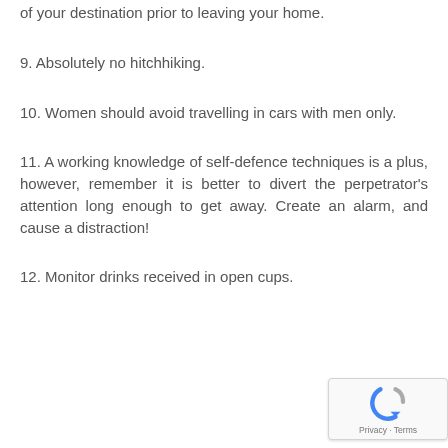of your destination prior to leaving your home.
9. Absolutely no hitchhiking.
10. Women should avoid travelling in cars with men only.
11. A working knowledge of self-defence techniques is a plus, however, remember it is better to divert the perpetrator’s attention long enough to get away. Create an alarm, and cause a distraction!
12. Monitor drinks received in open cups.
[Figure (other): reCAPTCHA privacy badge with logo and Privacy · Terms text]